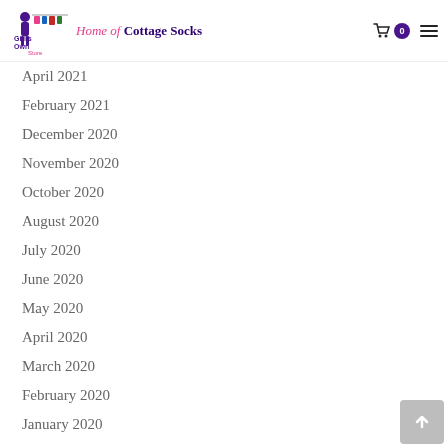Home of Cottage Socks — Girl's Own Store
April 2021
February 2021
December 2020
November 2020
October 2020
August 2020
July 2020
June 2020
May 2020
April 2020
March 2020
February 2020
January 2020